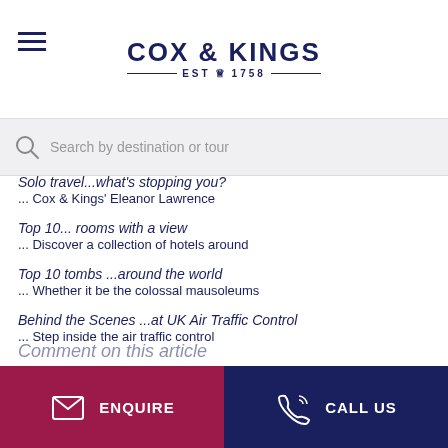COX & KINGS EST 1758
Search by destination or tour
Solo travel...what's stopping you?
... Cox & Kings' Eleanor Lawrence
Top 10... rooms with a view
... Discover a collection of hotels around
Top 10 tombs ...around the world
... Whether it be the colossal mausoleums
Behind the Scenes ...at UK Air Traffic Control
... Step inside the air traffic control
Comment on this article
ENQUIRE   CALL US